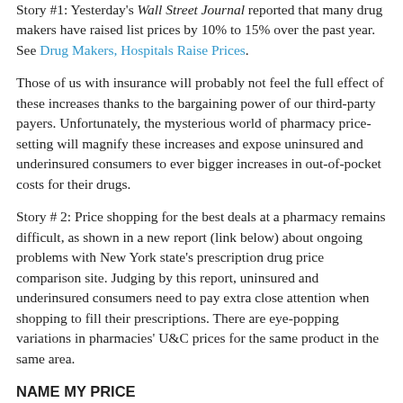Story #1: Yesterday's Wall Street Journal reported that many drug makers have raised list prices by 10% to 15% over the past year. See Drug Makers, Hospitals Raise Prices.
Those of us with insurance will probably not feel the full effect of these increases thanks to the bargaining power of our third-party payers. Unfortunately, the mysterious world of pharmacy price-setting will magnify these increases and expose uninsured and underinsured consumers to ever bigger increases in out-of-pocket costs for their drugs.
Story # 2: Price shopping for the best deals at a pharmacy remains difficult, as shown in a new report (link below) about ongoing problems with New York state's prescription drug price comparison site. Judging by this report, uninsured and underinsured consumers need to pay extra close attention when shopping to fill their prescriptions. There are eye-popping variations in pharmacies' U&C prices for the same product in the same area.
NAME MY PRICE
The Prescription Drug Prices in New York State website allows consumers in New York to compare the retail prices of